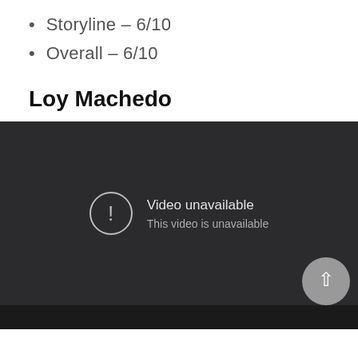Storyline – 6/10
Overall – 6/10
Loy Machedo
[Figure (screenshot): Embedded video player showing 'Video unavailable – This video is unavailable' error message with a YouTube play button icon in the bottom right corner.]